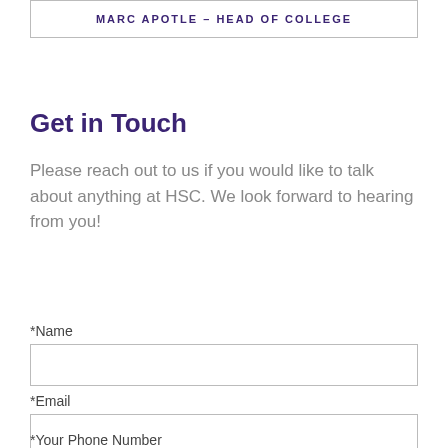MARGAPOTTE – HEAD OF COLLEGE
Get in Touch
Please reach out to us if you would like to talk about anything at HSC. We look forward to hearing from you!
*Name
*Email
*Your Phone Number